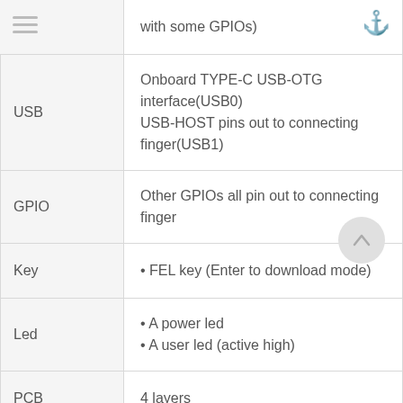| Interface | Description |
| --- | --- |
|  | with some GPIOs) |
| USB | Onboard TYPE-C USB-OTG interface(USB0)
USB-HOST pins out to connecting finger(USB1) |
| GPIO | Other GPIOs all pin out to connecting finger |
| Key | • FEL key (Enter to download mode) |
| Led | • A power led
• A user led (active high) |
| PCB | 4 layers |